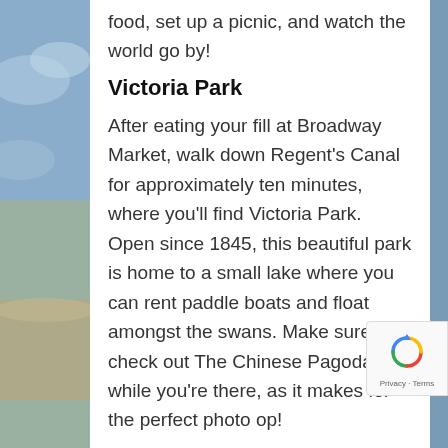food, set up a picnic, and watch the world go by!
Victoria Park
After eating your fill at Broadway Market, walk down Regent's Canal for approximately ten minutes, where you'll find Victoria Park. Open since 1845, this beautiful park is home to a small lake where you can rent paddle boats and float amongst the swans. Make sure to check out The Chinese Pagoda while you're there, as it makes for the perfect photo op!
Geffrye Museum
This quirky museum, found closest to Hoxton Overground Station, is a museum dedicated to exhibiting the main living spaces and elements domestic life through the centuries, starting in